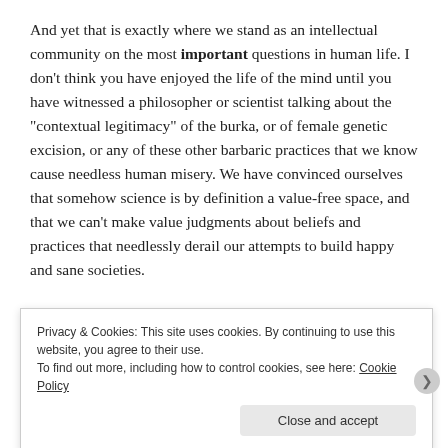And yet that is exactly where we stand as an intellectual community on the most important questions in human life. I don't think you have enjoyed the life of the mind until you have witnessed a philosopher or scientist talking about the "contextual legitimacy" of the burka, or of female genetic excision, or any of these other barbaric practices that we know cause needless human misery. We have convinced ourselves that somehow science is by definition a value-free space, and that we can't make value judgments about beliefs and practices that needlessly derail our attempts to build happy and sane societies.
[Figure (photo): Partial image strip visible behind cookie banner]
Privacy & Cookies: This site uses cookies. By continuing to use this website, you agree to their use.
To find out more, including how to control cookies, see here: Cookie Policy
Close and accept